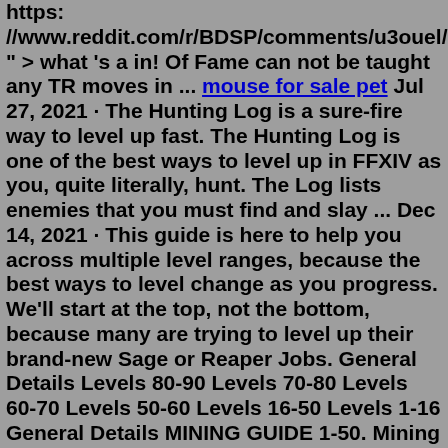https://www.reddit.com/r/BDSP/comments/u3ouel/i_beat_the" > what 's a in! Of Fame can not be taught any TR moves in ... mouse for sale pet Jul 27, 2021 · The Hunting Log is a sure-fire way to level up fast. The Hunting Log is one of the best ways to level up in FFXIV as you, quite literally, hunt. The Log lists enemies that you must find and slay ... Dec 14, 2021 · This guide is here to help you across multiple level ranges, because the best ways to level change as you progress. We'll start at the top, not the bottom, because many are trying to level up their brand-new Sage or Reaper Jobs. General Details Levels 80-90 Levels 70-80 Levels 60-70 Levels 50-60 Levels 16-50 Levels 1-16 General Details MINING GUIDE 1-50. Mining Leves Locations: In the leveling guide below, I recommend doing Fieldcraft leves for some of your levels. However, only specific camps offer mining leves. Here is a list: Level 10 leves: Camp Horizon in Western Thanalan. Level 15 leves: Camp Drybone in